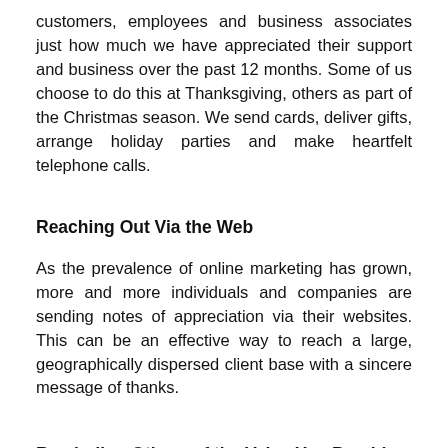customers, employees and business associates just how much we have appreciated their support and business over the past 12 months. Some of us choose to do this at Thanksgiving, others as part of the Christmas season. We send cards, deliver gifts, arrange holiday parties and make heartfelt telephone calls.
Reaching Out Via the Web
As the prevalence of online marketing has grown, more and more individuals and companies are sending notes of appreciation via their websites. This can be an effective way to reach a large, geographically dispersed client base with a sincere message of thanks.
Reminding Others of the Value You Provide